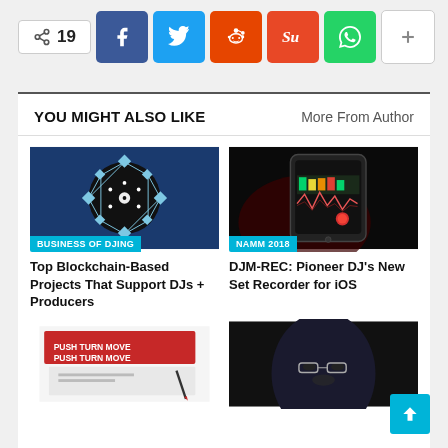[Figure (screenshot): Share bar with count 19 and social media buttons: Facebook, Twitter, Reddit, StumbleUpon, WhatsApp, and a plus button]
YOU MIGHT ALSO LIKE
More From Author
[Figure (illustration): Blockchain vinyl record illustration with blue network nodes on dark background, labeled BUSINESS OF DJING]
Top Blockchain-Based Projects That Support DJs + Producers
[Figure (photo): Smartphone showing DJ mixer app with waveform display, labeled NAMM 2018]
DJM-REC: Pioneer DJ's New Set Recorder for iOS
[Figure (photo): Red book with PUSH TURN MOVE text on cover]
[Figure (photo): Close-up of person's face, partially visible]